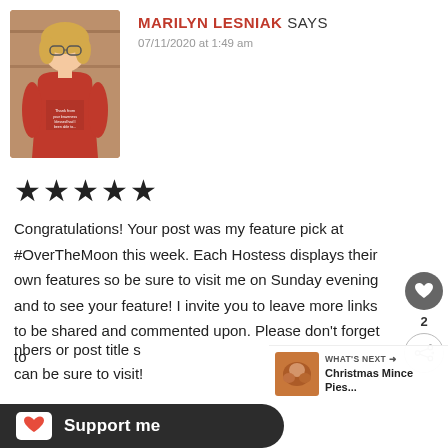[Figure (photo): Profile photo of Marilyn Lesniak, a woman in a red shirt, standing in a store]
MARILYN LESNIAK SAYS
07/11/2020 at 1:49 am
★★★★★
Congratulations! Your post was my feature pick at #OverTheMoon this week. Each Hostess displays their own features so be sure to visit me on Sunday evening and to see your feature! I invite you to leave more links to be shared and commented upon. Please don't forget to [use] numbers or post title so can be sure to visit!
WHAT'S NEXT → Christmas Mince Pies...
Support me